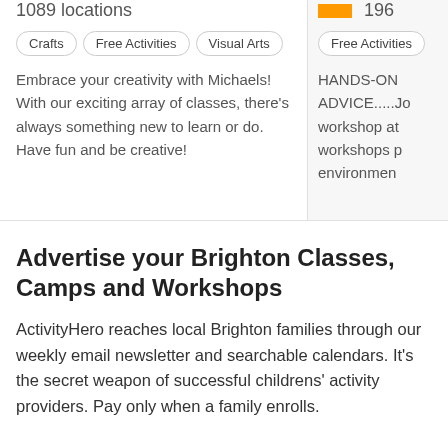1089 locations
Crafts  Free Activities  Visual Arts
Embrace your creativity with Michaels!  With our exciting array of classes, there's always something new to learn or do.  Have fun and be creative!
196
Free Activities
HANDS-ON ADVICE.....Jo workshop at workshops p environmen
Advertise your Brighton Classes, Camps and Workshops
ActivityHero reaches local Brighton families through our weekly email newsletter and searchable calendars. It's the secret weapon of successful childrens' activity providers. Pay only when a family enrolls.